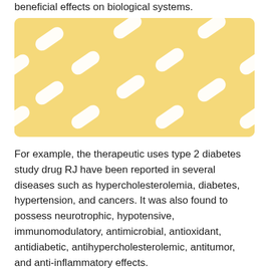beneficial effects on biological systems.
[Figure (photo): White capsule pills arranged in a diagonal pattern on a yellow background, viewed from above.]
For example, the therapeutic uses type 2 diabetes study drug RJ have been reported in several diseases such as hypercholesterolemia, diabetes, hypertension, and cancers. It was also found to possess neurotrophic, hypotensive, immunomodulatory, antimicrobial, antioxidant, antidiabetic, antihypercholesterolemic, antitumor, and anti-inflammatory effects.